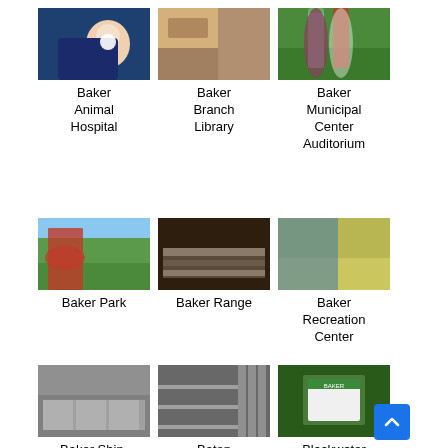[Figure (photo): Photo of a veterinarian holding a small white puppy]
Baker Animal Hospital
[Figure (photo): Photo of the interior of a library with seating areas]
Baker Branch Library
[Figure (photo): Photo of a park with patriotic balloon arch decorations]
Baker Municipal Center Auditorium
[Figure (photo): Photo of a sports team gathered on a field]
Baker Park
[Figure (photo): Photo of an indoor shooting range with display cases]
Baker Range
[Figure (photo): Photo of an indoor recreation center gymnasium with colorful wall mural]
Baker Recreation Center
[Figure (photo): Photo of a storage facility or warehouse building]
Baker Ship-
[Figure (photo): Photo of a fenced outdoor area or walkway]
Baton
[Figure (photo): Photo of a park sign surrounded by trees]
Blackwater